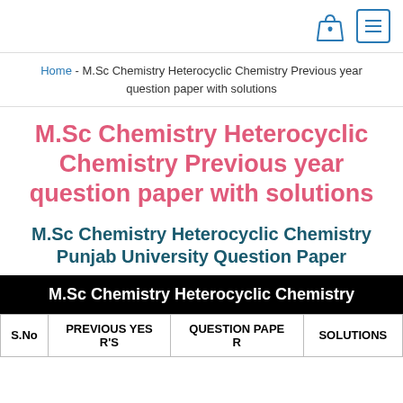0 [menu icon]
Home - M.Sc Chemistry Heterocyclic Chemistry Previous year question paper with solutions
M.Sc Chemistry Heterocyclic Chemistry Previous year question paper with solutions
M.Sc Chemistry Heterocyclic Chemistry Punjab University Question Paper
| S.No | PREVIOUS YEAR'S | QUESTION PAPER | SOLUTIONS |
| --- | --- | --- | --- |